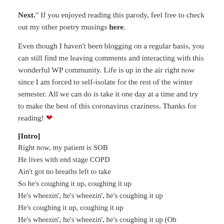Next." If you enjoyed reading this parody, feel free to check out my other poetry musings here.
Even though I haven't been blogging on a regular basis, you can still find me leaving comments and interacting with this wonderful WP community. Life is up in the air right now since I am forced to self-isolate for the rest of the winter semester. All we can do is take it one day at a time and try to make the best of this coronavirus craziness. Thanks for reading! ❤
[Intro]
Right now, my patient is SOB
He lives with end stage COPD
Ain't got no breaths left to take
So he's coughing it up, coughing it up
He's wheezin', he's wheezin', he's coughing it up
He's coughing it up, coughing it up
He's wheezin', he's wheezin', he's coughing it up (Oh